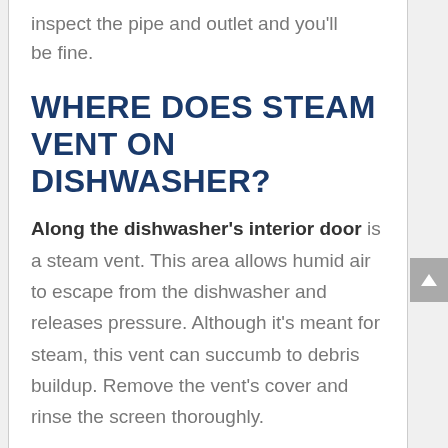inspect the pipe and outlet and you'll be fine.
WHERE DOES STEAM VENT ON DISHWASHER?
Along the dishwasher’s interior door is a steam vent. This area allows humid air to escape from the dishwasher and releases pressure. Although it’s meant for steam, this vent can succumb to debris buildup. Remove the vent’s cover and rinse the screen thoroughly.